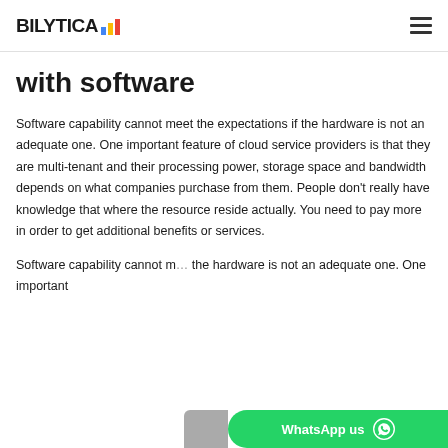BILYTICA [logo with bar chart icon]
with software
Software capability cannot meet the expectations if the hardware is not an adequate one. One important feature of cloud service providers is that they are multi-tenant and their processing power, storage space and bandwidth depends on what companies purchase from them. People don't really have knowledge that where the resource reside actually. You need to pay more in order to get additional benefits or services.
Software capability cannot m... the hardware is not an adequate one. One important